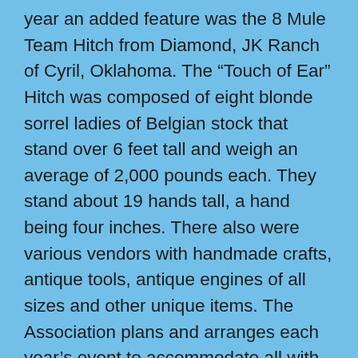year an added feature was the 8 Mule Team Hitch from Diamond, JK Ranch of Cyril, Oklahoma. The “Touch of Ear” Hitch was composed of eight blonde sorrel ladies of Belgian stock that stand over 6 feet tall and weigh an average of 2,000 pounds each. They stand about 19 hands tall, a hand being four inches. There also were various vendors with handmade crafts, antique tools, antique engines of all sizes and other unique items. The Association plans and arranges each year’s event to accommodate all with easy directed parking, free transportation from your parked car to the main event area, handicapped parking, nice clean restrooms and friendly Association Members to help you enjoy your visit,